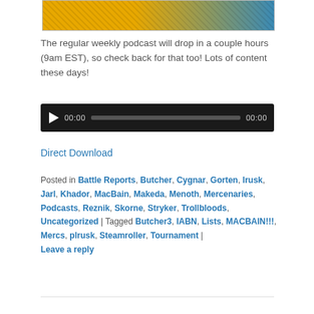[Figure (photo): Partial image at top of page showing mechanical parts on yellow/blue background]
The regular weekly podcast will drop in a couple hours (9am EST), so check back for that too! Lots of content these days!
[Figure (other): Audio player widget with play button, time display 00:00, progress bar, and end time 00:00 on dark background]
Direct Download
Posted in Battle Reports, Butcher, Cygnar, Gorten, Irusk, Jarl, Khador, MacBain, Makeda, Menoth, Mercenaries, Podcasts, Reznik, Skorne, Stryker, Trollbloods, Uncategorized | Tagged Butcher3, IABN, Lists, MACBAIN!!!, Mercs, plrusk, Steamroller, Tournament | Leave a reply